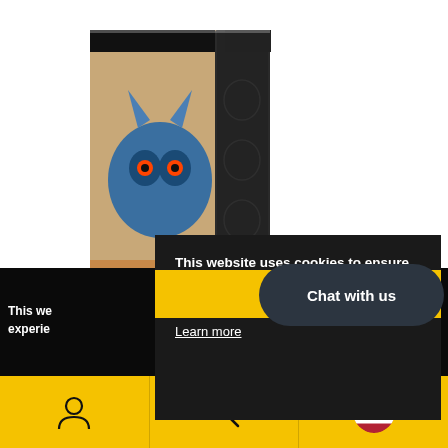[Figure (photo): Product box for a tabletop game (appears to be D&D or similar RPG) featuring a blue creature/monster on the packaging, with dark decorative panel on the side.]
This website uses cookies to ensure you get the best experience on our website.
Learn more
Got it!
Chat with us
This we
experien
[Figure (infographic): Bottom navigation bar with user account icon, search icon, and US flag icon on yellow background.]